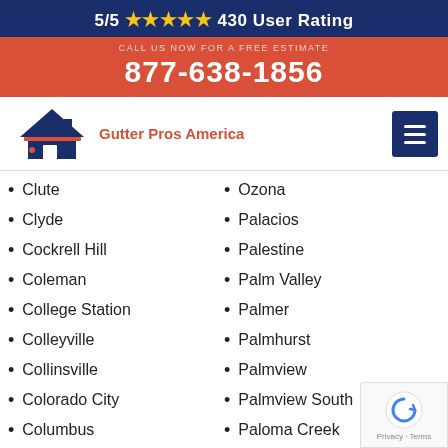5/5 ★★★★★ 430 User Rating
877-638-1856
[Figure (logo): Gutter Pros America logo with house/roof icon and company name]
Clute
Clyde
Cockrell Hill
Coleman
College Station
Colleyville
Collinsville
Colorado City
Columbus
Comanche
Combes
Combine
Comfort
Ozona
Palacios
Palestine
Palm Valley
Palmer
Palmhurst
Palmview
Palmview South
Paloma Creek
Paloma Creek South
Pampa
Panhandle
Panorama Village